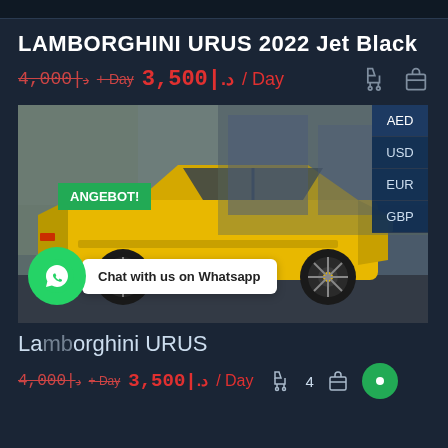LAMBORGHINI URUS 2022 Jet Black
4,000|د + Day  3,500|.د / Day
[Figure (photo): Yellow Lamborghini URUS SUV parked outside a dealership, side view, with ANGEBOT! badge overlay and currency selector (AED, USD, EUR, GBP) on right, and Whatsapp chat bubble at bottom]
Lamborghini URUS
4,000|د + Day  3,500|.د / Day  4  [live chat icon]